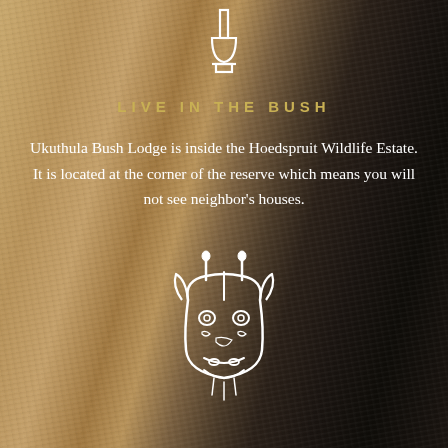[Figure (illustration): White outline icon of a goblet or chalice shape at the top center of the page]
LIVE IN THE BUSH
Ukuthula Bush Lodge is inside the Hoedspruit Wildlife Estate. It is located at the corner of the reserve which means you will not see neighbor’s houses.
[Figure (illustration): White outline icon of a giraffe head facing forward, centered in the lower portion of the page]